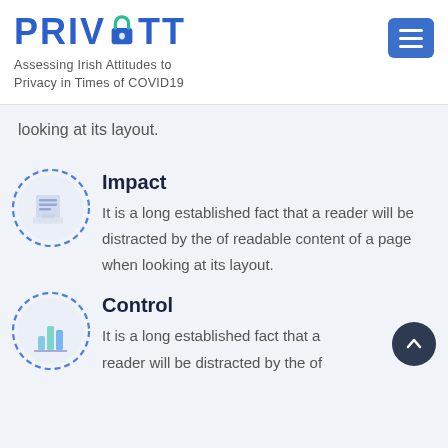PRIVATT — Assessing Irish Attitudes to Privacy in Times of COVID19
looking at its layout.
[Figure (illustration): Dashed blue circle with a document/inbox tray icon inside]
Impact
It is a long established fact that a reader will be distracted by the of readable content of a page when looking at its layout.
[Figure (illustration): Dashed blue circle with a bar chart icon inside]
Control
It is a long established fact that a reader will be distracted by the of